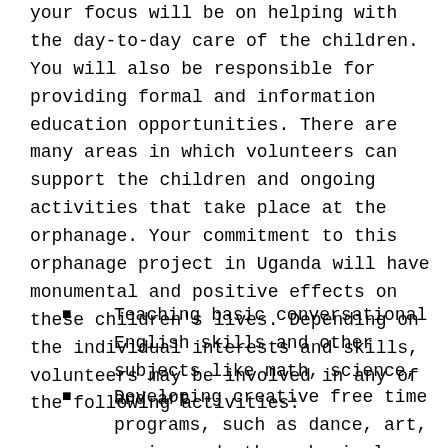your focus will be on helping with the day-to-day care of the children. You will also be responsible for providing formal and information education opportunities. There are many areas in which volunteers can support the children and ongoing activities that take place at the orphanage. Your commitment to this orphanage project in Uganda will have monumental and positive effects on these children's lives. Depending on the individual interests and skills, volunteers may be involved in any of the following activities:
Teaching basic conversational English skills and other subjects like math, science, and art
Developing creative free time programs, such as dance, art, music, and other physical activities